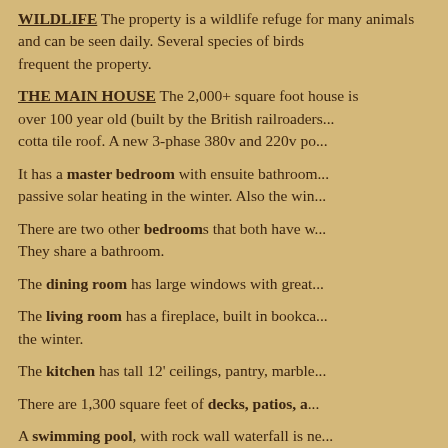WILDLIFE The property is a wildlife refuge for many animals and can be seen daily. Several species of birds frequent the property.
THE MAIN HOUSE The 2,000+ square foot house is over 100 year old (built by the British railroader...) cotta tile roof. A new 3-phase 380v and 220v po...
It has a master bedroom with ensuite bathroom... passive solar heating in the winter. Also the win...
There are two other bedrooms that both have w... They share a bathroom.
The dining room has large windows with great...
The living room has a fireplace, built in bookca... the winter.
The kitchen has tall 12' ceilings, pantry, marble...
There are 1,300 square feet of decks, patios, a...
A swimming pool, with rock wall waterfall is ne... pump house with modern pump and equipment... redwood type decking off of the house above th... and fenced. High quality chaise lounge chairs a...